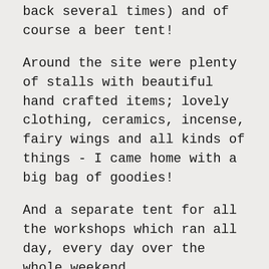back several times) and of course a beer tent!
Around the site were plenty of stalls with beautiful hand crafted items; lovely clothing, ceramics, incense, fairy wings and all kinds of things - I came home with a big bag of goodies!
And a separate tent for all the workshops which ran all day, every day over the whole weekend.
I think what stuck us most was the energy, it was so lovely.  Such a happy and relaxing vibe throughout the whole day.  We chilled, we sat back, we ate curry, we drank masala chai, we listened to the fabulous Pentacle